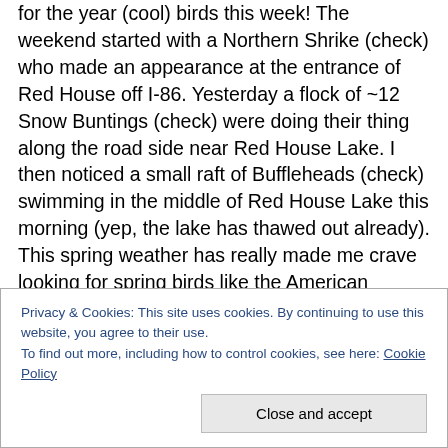for the year (cool) birds this week! The weekend started with a Northern Shrike (check) who made an appearance at the entrance of Red House off I-86. Yesterday a flock of ~12 Snow Buntings (check) were doing their thing along the road side near Red House Lake. I then noticed a small raft of Buffleheads (check) swimming in the middle of Red House Lake this morning (yep, the lake has thawed out already). This spring weather has really made me crave looking for spring birds like the American Woodcock! Then I remember that it's a few months early before I can start doing these activities!!
Privacy & Cookies: This site uses cookies. By continuing to use this website, you agree to their use. To find out more, including how to control cookies, see here: Cookie Policy
Close and accept